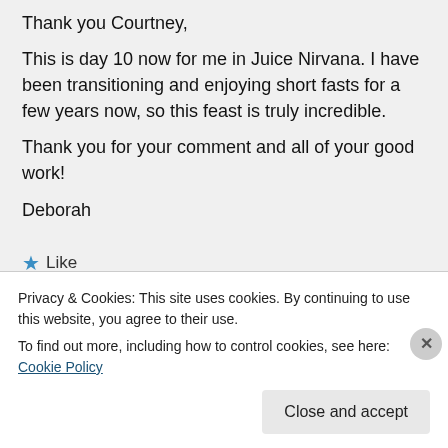Thank you Courtney,

This is day 10 now for me in Juice Nirvana. I have been transitioning and enjoying short fasts for a few years now, so this feast is truly incredible.
Thank you for your comment and all of your good work!
Deborah
★ Like
↪ Reply
Privacy & Cookies: This site uses cookies. By continuing to use this website, you agree to their use.
To find out more, including how to control cookies, see here: Cookie Policy
Close and accept